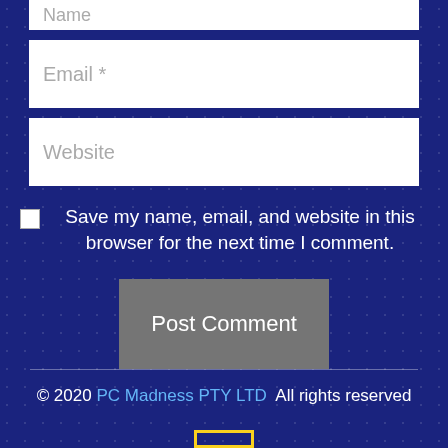Name
Email *
Website
Save my name, email, and website in this browser for the next time I comment.
Post Comment
© 2020 PC Madness PTY LTD  All rights reserved